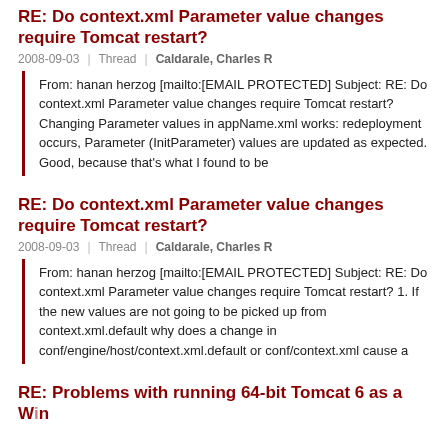RE: Do context.xml Parameter value changes require Tomcat restart?
2008-09-03 | Thread | Caldarale, Charles R
From: hanan herzog [mailto:[EMAIL PROTECTED] Subject: RE: Do context.xml Parameter value changes require Tomcat restart? Changing Parameter values in appName.xml works: redeployment occurs, Parameter (InitParameter) values are updated as expected. Good, because that's what I found to be
RE: Do context.xml Parameter value changes require Tomcat restart?
2008-09-03 | Thread | Caldarale, Charles R
From: hanan herzog [mailto:[EMAIL PROTECTED] Subject: RE: Do context.xml Parameter value changes require Tomcat restart? 1. If the new values are not going to be picked up from context.xml.default why does a change in conf/engine/host/context.xml.default or conf/context.xml cause a
RE: Problems with running 64-bit Tomcat 6 as a Windows service